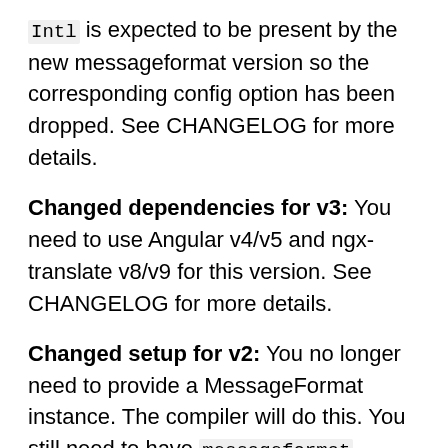Intl is expected to be present by the new messageformat version so the corresponding config option has been dropped. See CHANGELOG for more details.
Changed dependencies for v3: You need to use Angular v4/v5 and ngx-translate v8/v9 for this version. See CHANGELOG for more details.
Changed setup for v2: You no longer need to provide a MessageFormat instance. The compiler will do this. You still need to have messageformat installed, of course. See CHANGELOG for more details.
Integration with ngx-translate
You need to configure TranslateModule so it uses TranslateMessageFormatCompiler as the